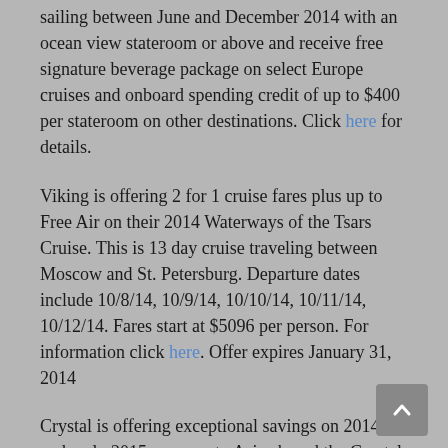sailing between June and December 2014 with an ocean view stateroom or above and receive free signature beverage package on select Europe cruises and onboard spending credit of up to $400 per stateroom on other destinations. Click here for details.
Viking is offering 2 for 1 cruise fares plus up to Free Air on their 2014 Waterways of the Tsars Cruise. This is 13 day cruise traveling between Moscow and St. Petersburg. Departure dates include 10/8/14, 10/9/14, 10/10/14, 10/11/14, 10/12/14. Fares start at $5096 per person. For information click here. Offer expires January 31, 2014
Crystal is offering exceptional savings on 2014 and early 2015 voyages to Asia aboard the Crystal